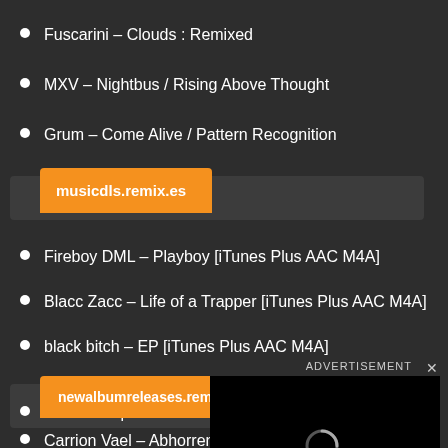Fuscarini – Clouds : Remixed
MXV – Nightbus / Rising Above Thought
Grum – Come Alive / Pattern Recognition
[Figure (screenshot): Orange URL tab bar showing musicdls.remix.es on a dark background]
Fireboy DML – Playboy [iTunes Plus AAC M4A]
Blacc Zacc – Life of a Trapper [iTunes Plus AAC M4A]
black bitch – EP [iTunes Plus AAC M4A]
[Figure (screenshot): Orange URL tab bar showing newalbumreleases.remix.es on a dark background, with an advertisement overlay box (black) in the bottom right showing a loading spinner, ADVERTISEMENT label and close X button]
Restless Spirits – Second To N
Carrion Vael – Abhorrent Obs